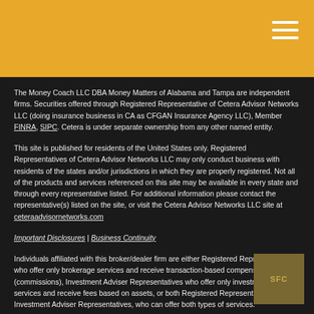Gold header bar with hamburger menu icon
The Money Coach LLC DBA Money Matters of Alabama and Tampa are independent firms. Securities offered through Registered Representative of Cetera Advisor Networks LLC (doing insurance business in CA as CFGAN Insurance Agency LLC), Member FINRA, SIPC. Cetera is under separate ownership from any other named entity.
This site is published for residents of the United States only. Registered Representatives of Cetera Advisor Networks LLC may only conduct business with residents of the states and/or jurisdictions in which they are properly registered. Not all of the products and services referenced on this site may be available in every state and through every representative listed. For additional information please contact the representative(s) listed on the site, or visit the Cetera Advisor Networks LLC site at ceteraadvisornetworks.com
Important Disclosures | Business Continuity
Individuals affiliated with this broker/dealer firm are either Registered Representatives who offer only brokerage services and receive transaction-based compensation (commissions), Investment Adviser Representatives who offer only investment advisory services and receive fees based on assets, or both Registered Representatives and Investment Adviser Representatives, who can offer both types of services.